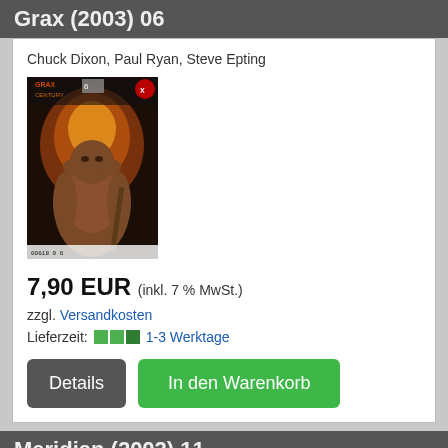Grax (2003) 06
Chuck Dixon, Paul Ryan, Steve Epting
[Figure (illustration): Comic book cover for Grax (2003) #06, showing a large muscular rocky creature in dark tones]
7,90 EUR (inkl. 7 % MwSt.)
zzgl. Versandkosten
Lieferzeit: 1-3 Werktage
Details | In den Warenkorb
Meridian (2002) 11